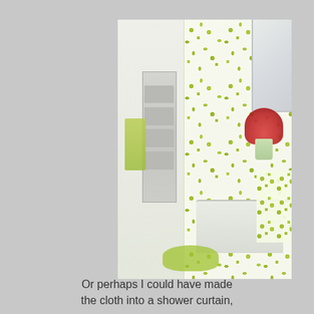[Figure (photo): A bathroom interior showing a white and green floral patterned shower curtain hanging from a rod, a metal shelving unit with white towels, a pedestal sink with pink/red flowers in a vase, a window, and matching green floral accessories including a bath mat on the floor and a hand towel.]
Or perhaps I could have made the cloth into a shower curtain,